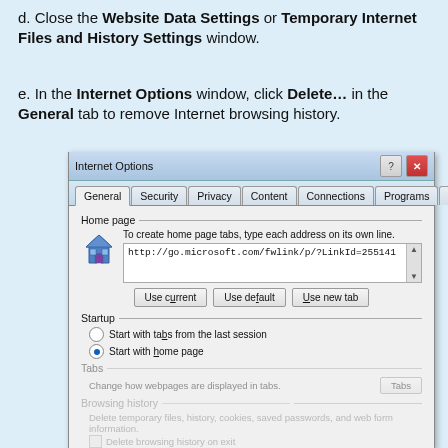d. Close the Website Data Settings or Temporary Internet Files and History Settings window.
e. In the Internet Options window, click Delete… in the General tab to remove Internet browsing history.
[Figure (screenshot): Internet Options dialog box showing the General tab with Home page, Startup, and Tabs sections. Shows URL http://go.microsoft.com/fwlink/p/?LinkId=255141 in the home page field, and radio buttons for startup options with 'Start with home page' selected.]